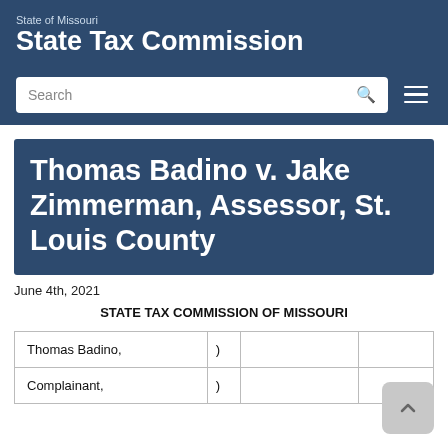State of Missouri State Tax Commission
Thomas Badino v. Jake Zimmerman, Assessor, St. Louis County
June 4th, 2021
STATE TAX COMMISSION OF MISSOURI
| Thomas Badino, | ) |  |  |
| Complainant, | ) |  |  |